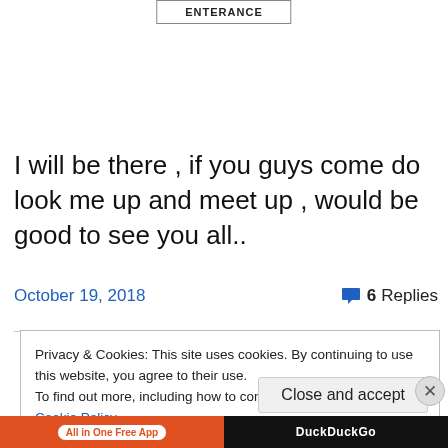[Figure (other): Button/link labeled ENTERANCE with border]
I will be there , if you guys come do look me up and meet up , would be good to see you all..
October 19, 2018
6 Replies
Privacy & Cookies: This site uses cookies. By continuing to use this website, you agree to their use.
To find out more, including how to control cookies, see here: Cookie Policy
Close and accept
[Figure (other): Ad bar at bottom with orange section showing 'All in One Free App' tag and dark section showing DuckDuckGo]